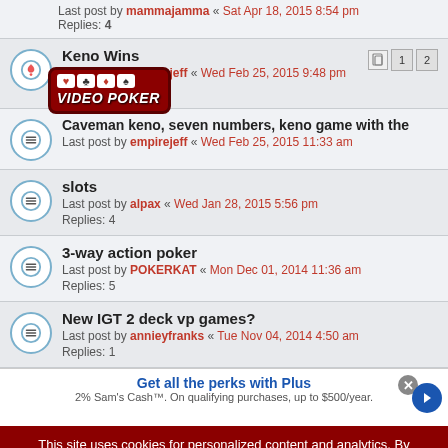Last post by mammajamma « Sat Apr 18, 2015 8:54 pm
Replies: 4
Keno Wins
Last post by empirejeff « Wed Feb 25, 2015 9:48 pm
Replies: 2
Pages: 1 2
[Figure (logo): Video Poker logo badge with card suit icons]
Caveman keno, seven numbers, keno game with the
Last post by empirejeff « Wed Feb 25, 2015 11:33 am
slots
Last post by alpax « Wed Jan 28, 2015 5:56 pm
Replies: 4
3-way action poker
Last post by POKERKAT « Mon Dec 01, 2014 11:36 am
Replies: 5
New IGT 2 deck vp games?
Last post by annieyfranks « Tue Nov 04, 2014 4:50 am
Replies: 1
Get all the perks with Plus
2% Sam's Cash™. On qualifying purchases, up to $500/year.
This site uses cookies for personalized content and analytics. By continuing to use this site, you agree to this use. Close